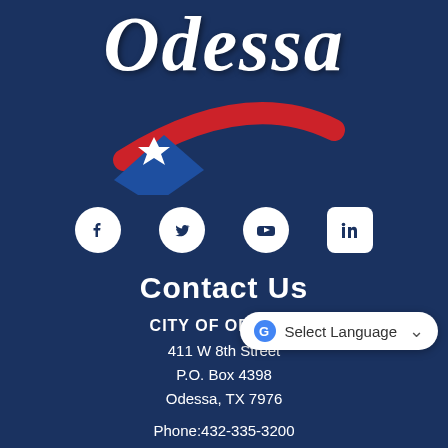[Figure (logo): City of Odessa logo with stylized 'Odessa' text in white italic script and a shooting star graphic in blue and red with a white star]
[Figure (infographic): Social media icons row: Facebook, Twitter, YouTube, LinkedIn — all white on navy background]
Contact Us
CITY OF ODESSA
411 W 8th Street
P.O. Box 4398
Odessa, TX 7976
Phone:432-335-3200
[Figure (screenshot): Google Translate 'Select Language' widget overlay in white rounded rectangle]